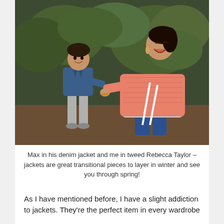[Figure (photo): A woman in a pink/coral tweed Rebecca Taylor jacket crouching and laughing, holding hands with a young boy (Max) wearing a denim jacket and grey pants, outdoors with green foliage in background.]
Max in his denim jacket and me in tweed Rebecca Taylor – jackets are great transitional pieces to layer in winter and see you through spring!
As I have mentioned before, I have a slight addiction to jackets. They're the perfect item in every wardrobe